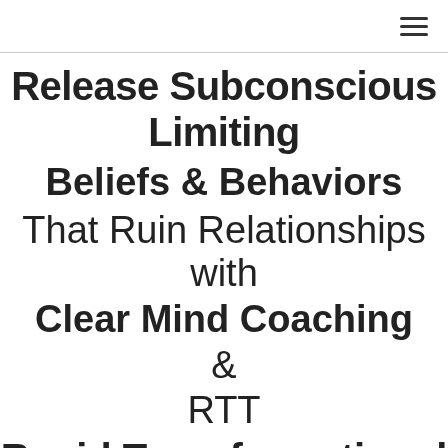≡
Release Subconscious Limiting Beliefs & Behaviors That Ruin Relationships with Clear Mind Coaching & RTT Rapid Transformational Therapy